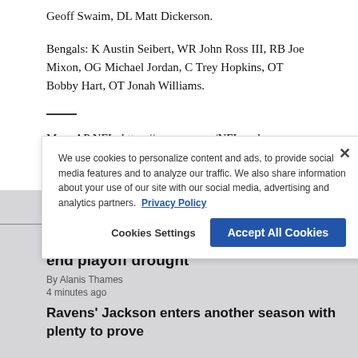Geoff Swaim, DL Matt Dickerson.
Bengals: K Austin Seibert, WR John Ross III, RB Joe Mixon, OG Michael Jordan, C Trey Hopkins, OT Bobby Hart, OT Jonah Williams.
More AP NFL: https://apnews.com/NFL and https://twitter.com/AP_NFL
Latest News
Dolphins hoping new additions will help end playoff drought
By Alanis Thames
4 minutes ago
Ravens' Jackson enters another season with plenty to prove
We use cookies to personalize content and ads, to provide social media features and to analyze our traffic. We also share information about your use of our site with our social media, advertising and analytics partners. Privacy Policy
Cookies Settings
Accept All Cookies